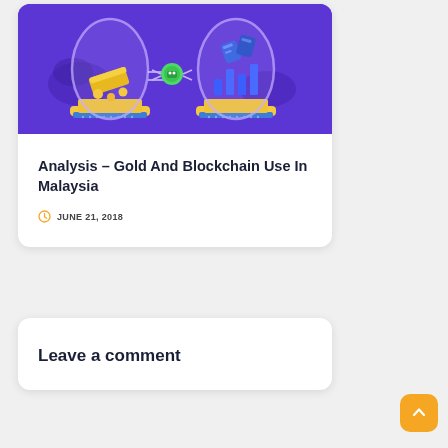[Figure (illustration): Two glass dome jars on blue platforms connected by a green robot/satellite figure. Left jar contains a gold bar and coins on a yellow platform, right jar contains stacked coins and blockchain-related icons. Purple/violet background with dark abstract shapes.]
Analysis – Gold And Blockchain Use In Malaysia
JUNE 21, 2018
Leave a comment